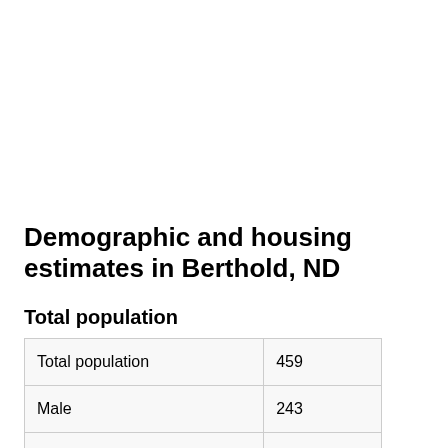Demographic and housing estimates in Berthold, ND
Total population
| Total population | 459 |
| Male | 243 |
| Female | 216 |